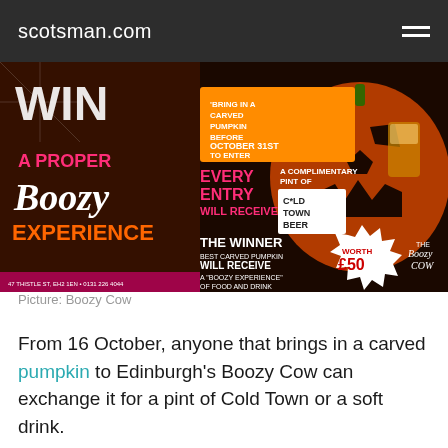scotsman.com
[Figure (illustration): Boozy Cow Halloween pumpkin competition advertisement. Orange and black Halloween themed poster with jack-o-lantern. Text reads: WIN A PROPER Boozy EXPERIENCE, EVERY ENTRY WILL RECEIVE A COMPLIMENTARY PINT OF Cold Town Beer, THE WINNER BEST CARVED PUMPKIN WILL RECEIVE A BOOZY EXPERIENCE OF FOOD AND DRINK worth £50. The Boozy Cow logo visible.]
Picture: Boozy Cow
From 16 October, anyone that brings in a carved pumpkin to Edinburgh's Boozy Cow can exchange it for a pint of Cold Town or a soft drink.
The team will then pick the five best carved pumpkins and hold a public vote to pick the